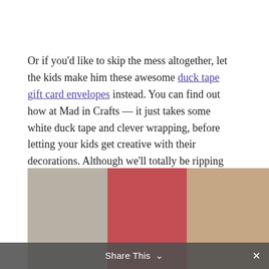Or if you'd like to skip the mess altogether, let the kids make him these awesome duck tape gift card envelopes instead. You can find out how at Mad in Crafts — it just takes some white duck tape and clever wrapping, before letting your kids get creative with their decorations. Although we'll totally be ripping off this mix-tape CD design. So awesome.
[Figure (photo): Partial image of craft supplies and gift wrapping materials, partially cropped at bottom of page]
Share This ∨  ×